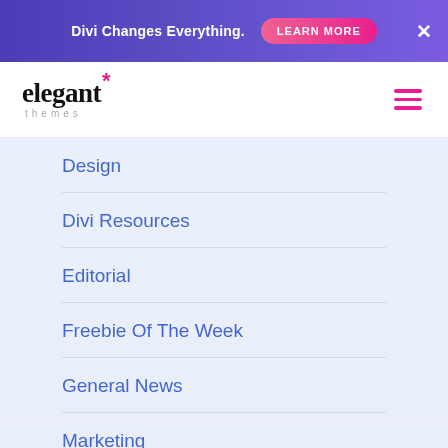Divi Changes Everything. LEARN MORE ×
[Figure (logo): Elegant Themes logo with asterisk and hamburger menu icon]
Design
Divi Resources
Editorial
Freebie Of The Week
General News
Marketing
Resources
Theme Additions
Theme Changelog / Bug Fixes